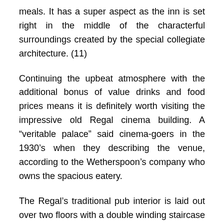meals. It has a super aspect as the inn is set right in the middle of the characterful surroundings created by the special collegiate architecture. (11)
Continuing the upbeat atmosphere with the additional bonus of value drinks and food prices means it is definitely worth visiting the impressive old Regal cinema building. A “veritable palace” said cinema-goers in the 1930’s when they describing the venue, according to the Wetherspoon’s company who owns the spacious eatery.
The Regal’s traditional pub interior is laid out over two floors with a double winding staircase connecting one floor to the next. Open till late when government restrictions allow it is the perfect place to wind down in the company of other young, lively and friendly people.(12)
To explore and get a taste of in Cambridge...